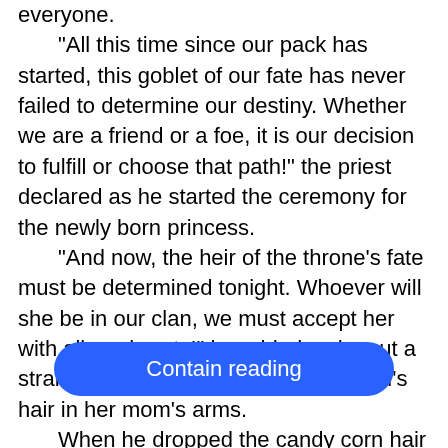everyone.

"All this time since our pack has started, this goblet of our fate has never failed to determine our destiny. Whether we are a friend or a foe, it is our decision to fulfill or choose that path!" the priest declared as he started the ceremony for the newly born princess.

"And now, the heir of the throne's fate must be determined tonight. Whoever will she be in our clan, we must accept her with all our hearts!" he added as he cut a strand of the quietly observing little girl's hair in her mom's arms.

When he dropped the candy corn hair in the ... eir bre... 
 air was the fate of the wolf.
Contain reading